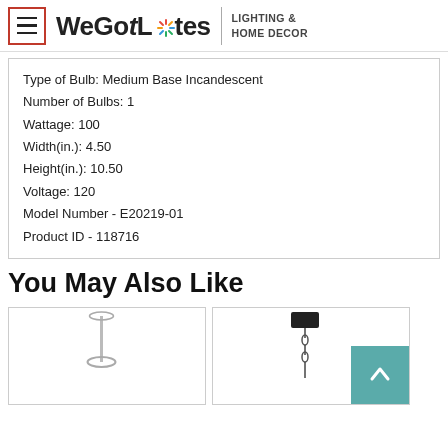WeGotLites LIGHTING & HOME DECOR
Type of Bulb: Medium Base Incandescent
Number of Bulbs: 1
Wattage: 100
Width(in.): 4.50
Height(in.): 10.50
Voltage: 120
Model Number - E20219-01
Product ID - 118716
You May Also Like
[Figure (photo): Pendant light fixture with thin rod and circular canopy, shown on white background]
[Figure (photo): Pendant light fixture with chain and square black canopy, shown on white background with teal scroll-to-top button overlay]